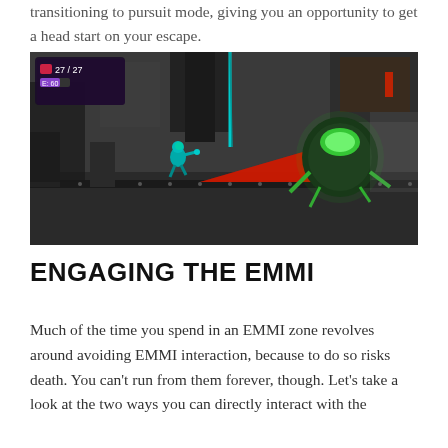transitioning to pursuit mode, giving you an opportunity to get a head start on your escape.
[Figure (screenshot): Metroid Dread gameplay screenshot showing Samus running in a dark industrial environment. A large robotic EMMI enemy is visible on the right side, glowing green. UI elements in top-left show health: 27/27 and E: 60. The environment features dark metallic platforms and machinery with a red triangular hazard area.]
ENGAGING THE EMMI
Much of the time you spend in an EMMI zone revolves around avoiding EMMI interaction, because to do so risks death. You can't run from them forever, though. Let's take a look at the two ways you can directly interact with the